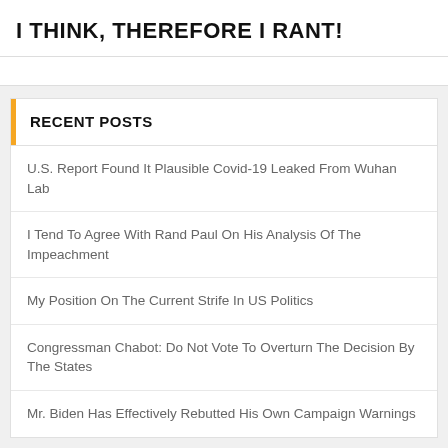I THINK, THEREFORE I RANT!
RECENT POSTS
U.S. Report Found It Plausible Covid-19 Leaked From Wuhan Lab
I Tend To Agree With Rand Paul On His Analysis Of The Impeachment
My Position On The Current Strife In US Politics
Congressman Chabot: Do Not Vote To Overturn The Decision By The States
Mr. Biden Has Effectively Rebutted His Own Campaign Warnings